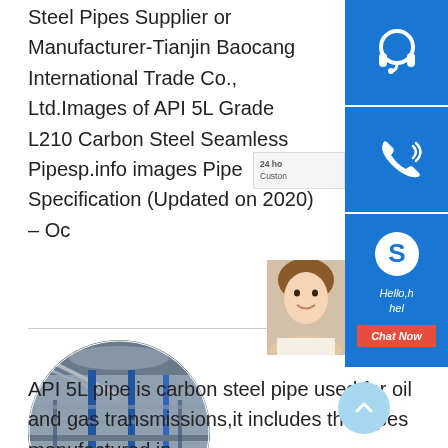Steel Pipes Supplier or Manufacturer-Tianjin Baocang International Trade Co., Ltd.Images of API 5L Grade L210 Carbon Steel Seamless Pipesp.info images Pipe Specification (Updated on 2020) – Oc
[Figure (photo): Circular cropped photo of a steel pipe factory interior with rows of steel pipes on conveyor racks, industrial overhead cranes visible]
[Figure (infographic): Chat widget sidebar with blue headset/customer service icon, blue phone icon, blue Skype icon, agent photo, and orange Chat Now button. Text: 24 ho Customer, Hello,h hel, Chat Now]
API 5L pipe is carbon steel pipe used for oil and gas transmissions,it includes the pipes manufactured in